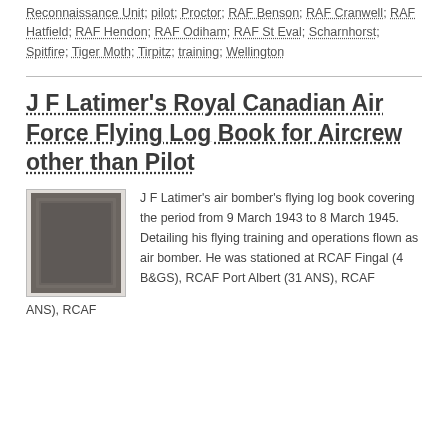Reconnaissance Unit; pilot; Proctor; RAF Benson; RAF Cranwell; RAF Hatfield; RAF Hendon; RAF Odiham; RAF St Eval; Scharnhorst; Spitfire; Tiger Moth; Tirpitz; training; Wellington
J F Latimer's Royal Canadian Air Force Flying Log Book for Aircrew other than Pilot
[Figure (photo): Photograph of a dark grey/blue hardcover flying log book]
J F Latimer's air bomber's flying log book covering the period from 9 March 1943 to 8 March 1945. Detailing his flying training and operations flown as air bomber. He was stationed at RCAF Fingal (4 B&GS), RCAF Port Albert (31 ANS), RCAF